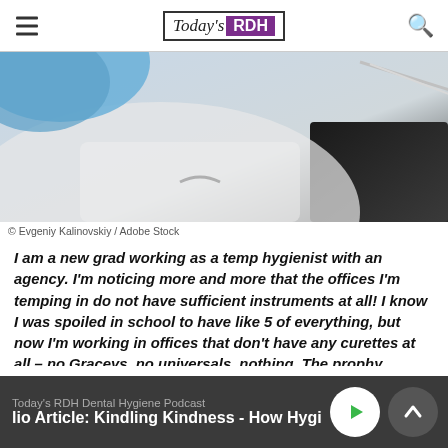Today's RDH
[Figure (photo): Close-up of a dental hygienist in blue scrubs holding a dental mirror instrument, blurred background]
© Evgeniy Kalinovskiy / Adobe Stock
I am a new grad working as a temp hygienist with an agency. I'm noticing more and more that the offices I'm temping in do not have sufficient instruments at all! I know I was spoiled in school to have like 5 of everything, but now I'm working in offices that don't have any curettes at all – no Graceys, no universals, nothing. The prophy cassette will have like three things, a mirror, H6/H7, probe/explorer, and sometimes a
Today's RDH Dental Hygiene Podcast
lio Article: Kindling Kindness - How Hygienists